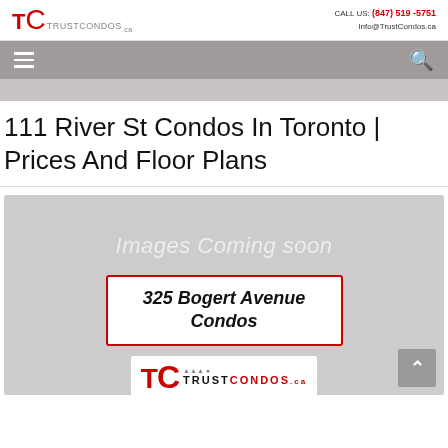TRUSTCONDOS.ca | CALL US: (847) 519-5751 | Info@TrustCondos.ca
111 River St Condos In Toronto | Prices And Floor Plans
[Figure (illustration): Gray placeholder image area with 'Images Coming soon' text, a bordered box reading '325 Bogert Avenue Condos', and a TrustCondos.ca logo at the bottom]
[Figure (logo): TrustCondos.ca logo with TC letters and Toronto skyline silhouette]